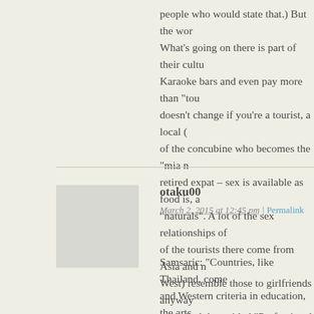people who would state that.) But the wor... What’s going on there is part of their cultu... Karaoke bars and even pay more than “tou... doesn’t change if you’re a tourist, a local (... of the concubine who becomes the “mia n... retired expat – sex is available as food is, a... “naturals”. A lot of the sex relationships of... of the tourists there come from Asia and n... West) resemble those to girlfriends anyway... study had them titled “Professional Girlfri...
otaku00
March 2, 2015 at 12:45 pm | Permalink
Samsaric: “Countries, like Thailand, come... and Western criteria in education, the arts,...